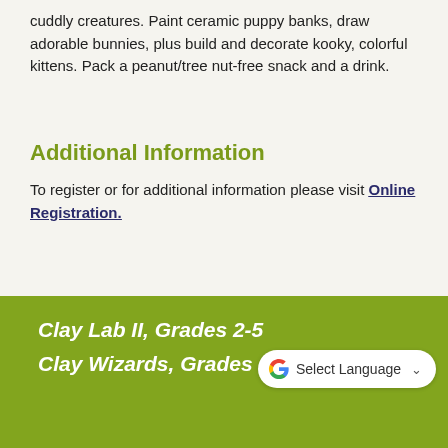cuddly creatures. Paint ceramic puppy banks, draw adorable bunnies, plus build and decorate kooky, colorful kittens. Pack a peanut/tree nut-free snack and a drink.
Additional Information
To register or for additional information please visit Online Registration.
Clay Lab II, Grades 2-5
Clay Wizards, Grades 1-5